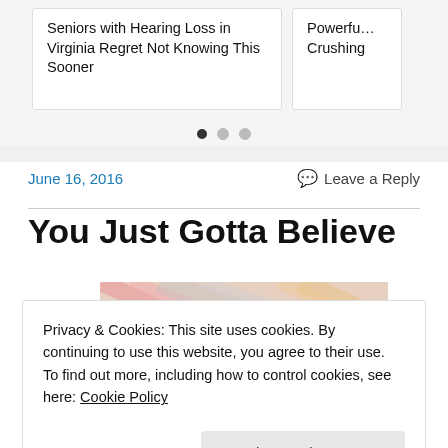[Figure (screenshot): Carousel of sponsored ad cards. First card reads: 'Seniors with Hearing Loss in Virginia Regret Not Knowing This Sooner'. Second card is partially clipped showing 'Powerfu... Crushing'. Three navigation dots below.]
June 16, 2016
Leave a Reply
You Just Gotta Believe
[Figure (illustration): Colorful artistic image with text 'DO WHAT' in large stylized letters on a textured background with pink, gray and orange streaks.]
Privacy & Cookies: This site uses cookies. By continuing to use this website, you agree to their use.
To find out more, including how to control cookies, see here: Cookie Policy
Close and accept